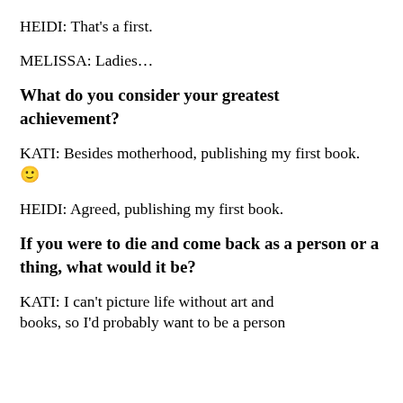HEIDI: That's a first.
MELISSA: Ladies…
What do you consider your greatest achievement?
KATI: Besides motherhood, publishing my first book. 🙂
HEIDI: Agreed, publishing my first book.
If you were to die and come back as a person or a thing, what would it be?
KATI: I can't picture life without art and books, so I'd probably want to be a person